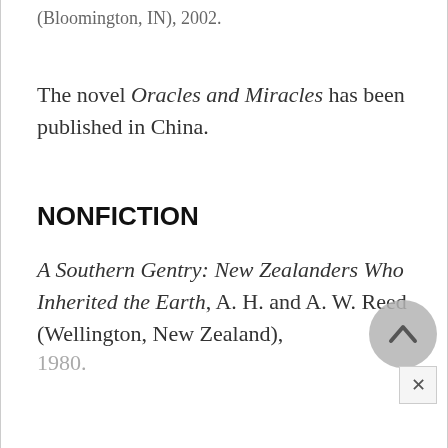(Bloomington, IN), 2002.
The novel Oracles and Miracles has been published in China.
NONFICTION
A Southern Gentry: New Zealanders Who Inherited the Earth, A. H. and A. W. Reed (Wellington, New Zealand), 1980.